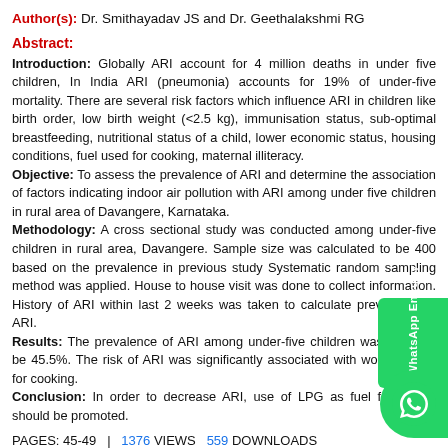Author(s): Dr. Smithayadav JS and Dr. Geethalakshmi RG
Abstract:
Introduction: Globally ARI account for 4 million deaths in under five children, In India ARI (pneumonia) accounts for 19% of under-five mortality. There are several risk factors which influence ARI in children like birth order, low birth weight (<2.5 kg), immunisation status, sub-optimal breastfeeding, nutritional status of a child, lower economic status, housing conditions, fuel used for cooking, maternal illiteracy. Objective: To assess the prevalence of ARI and determine the association of factors indicating indoor air pollution with ARI among under five children in rural area of Davangere, Karnataka. Methodology: A cross sectional study was conducted among under-five children in rural area, Davangere. Sample size was calculated to be 400 based on the prevalence in previous study Systematic random sampling method was applied. House to house visit was done to collect information. History of ARI within last 2 weeks was taken to calculate prevalence of ARI. Results: The prevalence of ARI among under-five children was found to be 45.5%. The risk of ARI was significantly associated with wood as fuel for cooking. Conclusion: In order to decrease ARI, use of LPG as fuel for coking should be promoted.
PAGES: 45-49  |  1376 VIEWS  559 DOWNLOADS
DOWNLOAD (400KB)